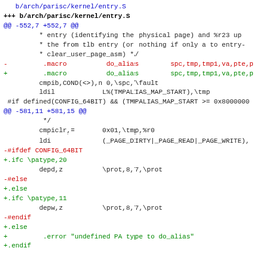[Figure (screenshot): A code diff view showing changes to arch/parisc/kernel/entry.S. The diff shows additions (+) in green and removals (-) in red, with context lines in black/dark color. It includes two hunk headers (@@ -552,7 +552,7 @@ and @@ -581,11 +581,15 @@) and shows macro definition changes and ifc/ifdef conditional assembly changes.]